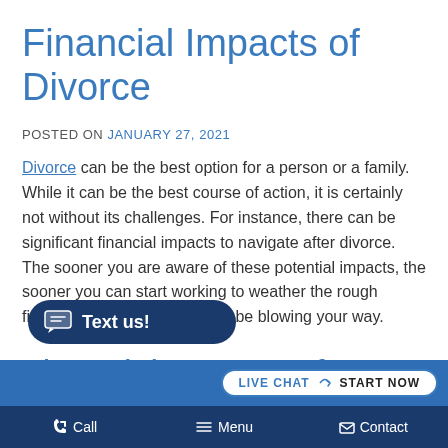Financial Impacts of Divorce
POSTED ON JANUARY 27, 2021
Divorce can be the best option for a person or a family. While it can be the best course of action, it is certainly not without its challenges. For instance, there can be significant financial impacts to navigate after divorce. The sooner you are aware of these potential impacts, the sooner you can start working to weather the rough financial winds that may soon be blowing your way.
Financial Impacts of Divorce
Text us! | LIVE CHAT START NOW | Call | Menu | Contact